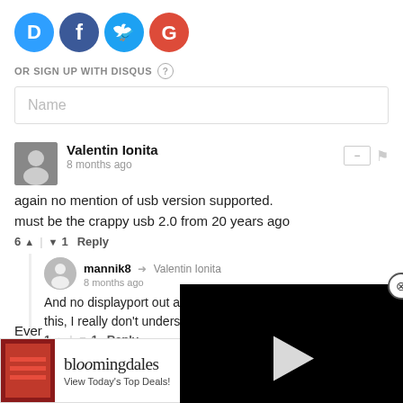[Figure (logo): Four social login icons: Disqus (blue D), Facebook (dark blue f), Twitter (light blue bird), Google (red G)]
OR SIGN UP WITH DISQUS ?
Name
Valentin Ionita
8 months ago
again no mention of usb version supported.
must be the crappy usb 2.0 from 20 years ago
6 ▲ | ▼ 1   Reply
mannik8 → Valentin Ionita
8 months ago
And no displayport out as well
this, I really don't understand.
1 ▲ | ▼ 1   Reply
[Figure (screenshot): Black video player overlay with play button, pink dot, skip and mute controls, expand button, and X close button]
[Figure (other): Bloomingdales advertisement banner: View Today's Top Deals! with SHOP NOW > button]
Ever...                    s